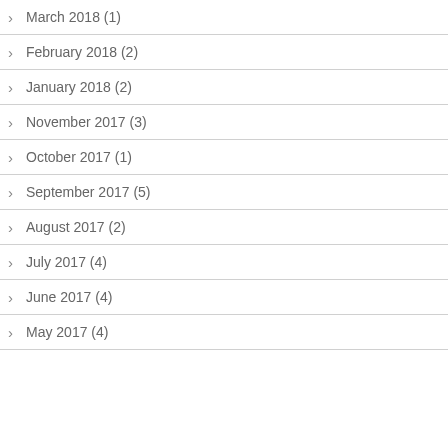March 2018 (1)
February 2018 (2)
January 2018 (2)
November 2017 (3)
October 2017 (1)
September 2017 (5)
August 2017 (2)
July 2017 (4)
June 2017 (4)
May 2017 (4)